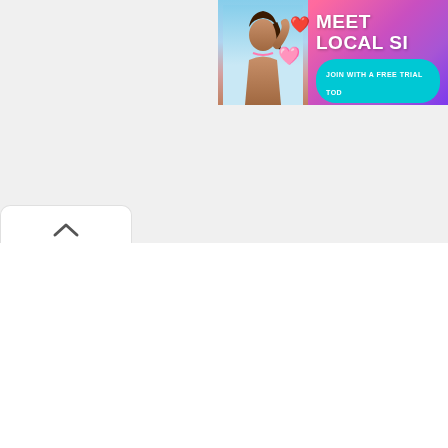[Figure (screenshot): Advertisement banner partially visible in top-right corner showing a woman in bikini on a beach background with pink-to-purple gradient, text 'MEET LOCAL SI...' and 'JOIN WITH A FREE TRIAL TOD...' on a teal button]
[Figure (screenshot): White content panel with rounded top-left tab containing an upward chevron arrow (collapse/scroll-up button), representing a collapsed or minimized UI panel]